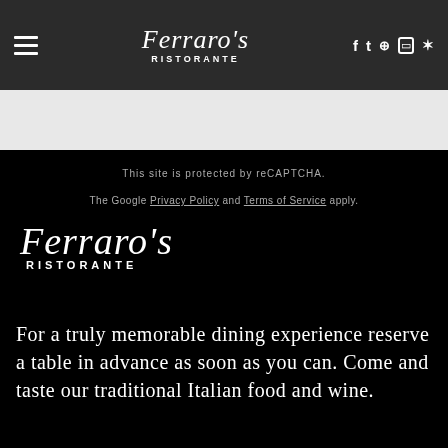Ferraro's Ristorante — navigation header with social icons
[Figure (logo): Ferraro's Ristorante logo in script font with RISTORANTE below, white on dark grey background]
This site is protected by reCAPTCHA.
The Google Privacy Policy and Terms of Service apply.
[Figure (logo): Ferraro's Ristorante logo in script font with RISTORANTE below, white on black background]
For a truly memorable dining experience reserve a table in advance as soon as you can. Come and taste our traditional Italian food and wine.